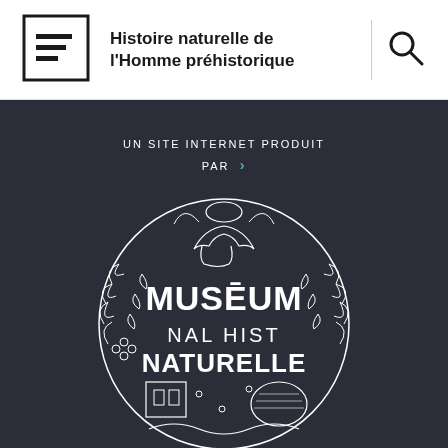[Figure (logo): Menu hamburger icon in a rectangle box]
Histoire naturelle de l'Homme préhistorique
[Figure (other): Search magnifying glass icon]
UN SITE INTERNET PRODUIT PAR ›
[Figure (logo): Muséum National d'Histoire Naturelle circular logo with white line art on dark background showing MUSÉUM NAL HIST NATURELLE text surrounded by botanical and natural history illustrations]